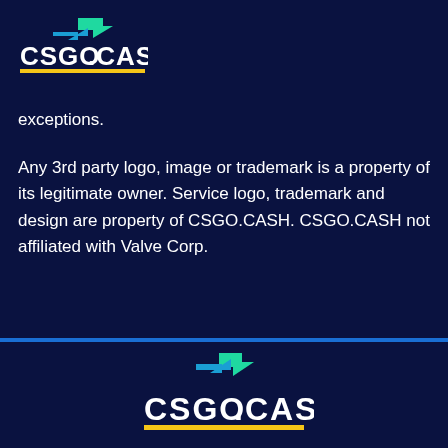[Figure (logo): CSGO.CASH logo with green arrows and yellow underline, top left]
exceptions.
Any 3rd party logo, image or trademark is a property of its legitimate owner. Service logo, trademark and design are property of CSGO.CASH. CSGO.CASH not affiliated with Valve Corp.
[Figure (logo): CSGO.CASH logo centered in footer with green arrows and yellow underline]